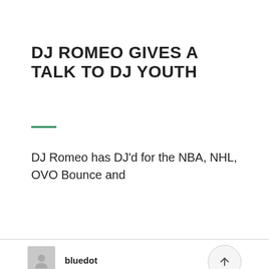DJ ROMEO GIVES A TALK TO DJ YOUTH
DJ Romeo has DJ'd for the NBA, NHL, OVO Bounce and
bluedot
26 November, 2015